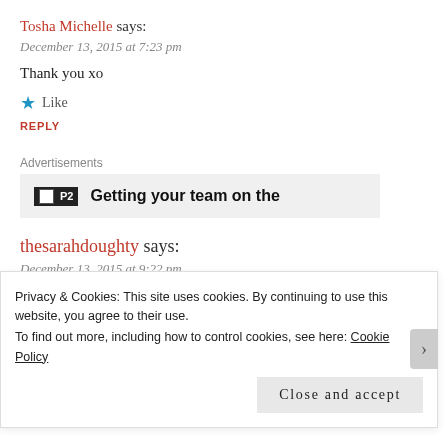Tosha Michelle says:
December 13, 2015 at 7:23 pm
Thank you xo
★ Like
REPLY
Advertisements
[Figure (other): Advertisement banner with P2 logo and text: Getting your team on the...]
thesarahdoughty says:
December 13, 2015 at 9:22 pm
Privacy & Cookies: This site uses cookies. By continuing to use this website, you agree to their use. To find out more, including how to control cookies, see here: Cookie Policy
Close and accept